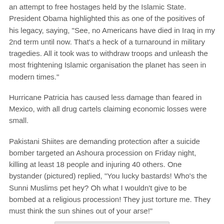an attempt to free hostages held by the Islamic State. President Obama highlighted this as one of the positives of his legacy, saying, "See, no Americans have died in Iraq in my 2nd term until now. That's a heck of a turnaround in military tragedies. All it took was to withdraw troops and unleash the most frightening Islamic organisation the planet has seen in modern times."
Hurricane Patricia has caused less damage than feared in Mexico, with all drug cartels claiming economic losses were small.
Pakistani Shiites are demanding protection after a suicide bomber targeted an Ashoura procession on Friday night, killing at least 18 people and injuring 40 others. One bystander (pictured) replied, "You lucky bastards! Who’s the Sunni Muslims pet hey? Oh what I wouldn’t give to be bombed at a religious procession! They just torture me. They must think the sun shines out of your arse!"
[Figure (photo): Dark photograph showing hands or figures in low lighting, partially visible at bottom of page]